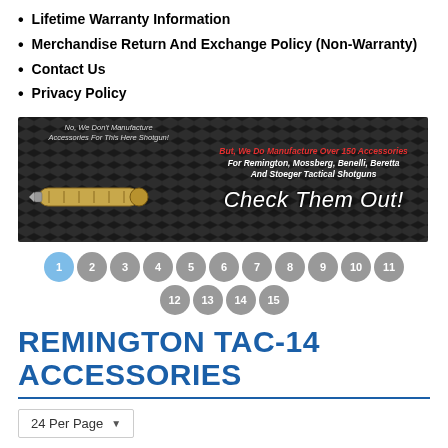Lifetime Warranty Information
Merchandise Return And Exchange Policy (Non-Warranty)
Contact Us
Privacy Policy
[Figure (illustration): Dark diamond-plate background banner. Left half: italic text 'No, We Don't Manufacture Accessories For This Here Shotgun!' with an image of a shotgun shell/tube. Right half: bold italic text 'But, We Do Manufacture Over 150 Accessories For Remington, Mossberg, Benelli, Beretta And Stoeger Tactical Shotguns' and large white bold italic text 'Check Them Out!']
Pagination: 1 (active), 2, 3, 4, 5, 6, 7, 8, 9, 10, 11, 12, 13, 14, 15
REMINGTON TAC-14 ACCESSORIES
24 Per Page